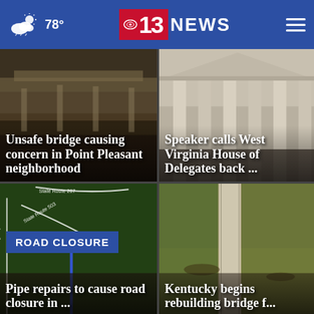78° | CBS 13 NEWS
[Figure (photo): Closeup of old rusty bridge metal structure]
Unsafe bridge causing concern in Point Pleasant neighborhood
[Figure (photo): Classical building with columns, government building]
Speaker calls West Virginia House of Delegates back ...
[Figure (photo): Aerial/map view showing road closure on State Route 207 and State Route 503]
Pipe repairs to cause road closure in ...
[Figure (photo): Aerial view of damaged or flooded bridge structure]
Kentucky begins rebuilding bridge f...